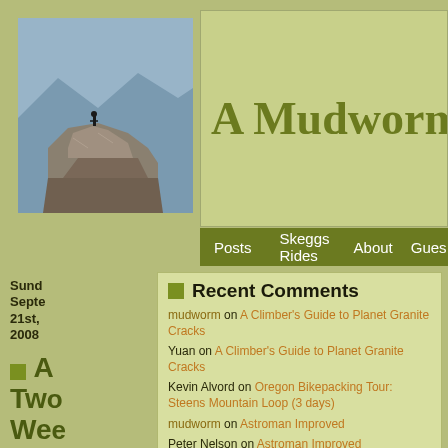[Figure (photo): Person standing on top of a dramatic granite cliff/rock outcrop with mountain valley in background]
A Mudworm's T
Posts  Skeggs Rides  About  Gues
Sunday September 21st, 2008
Recent Comments
A Two Wee Lon Roa Trip to BC
mudworm on A Climber's Guide to Planet Granite Cracks
Yuan on A Climber's Guide to Planet Granite Cracks
Kevin Alvord on Oregon Bikepacking Tour: Steens Mountain Loop (3 days)
mudworm on Astroman Improved
Peter Nelson on Astroman Improved
mudworm on Guestbook
Alexey on Guestbook
mudworm on Guestbook
duncan on Guestbook